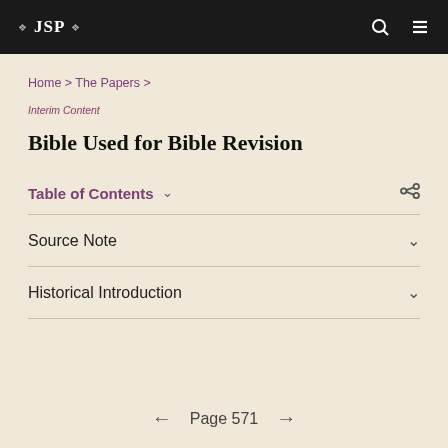JSP
Home > The Papers >
Interim Content
Bible Used for Bible Revision
Table of Contents
Source Note
Historical Introduction
Page 571